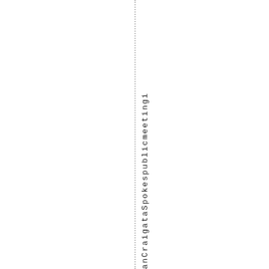anCraigataSpokespublicmeeting i n g i